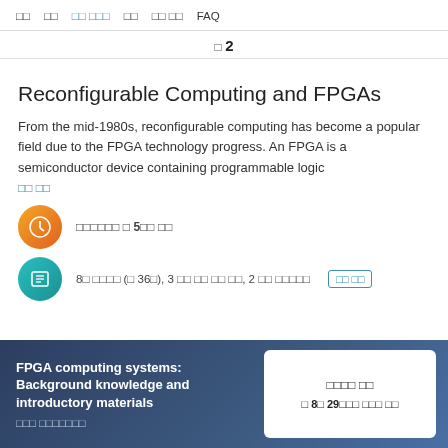□□   □□   □□ □□□   □□   □□ □□   FAQ
□ 2
Reconfigurable Computing and FPGAs
From the mid-1980s, reconfigurable computing has become a popular field due to the FPGA technology progress. An FPGA is a semiconductor device containing programmable logic...
□□ □□
□□□□□□ □ 5□□ □□
8□ □□□□ (□ 36□), 3 □□ □□ □□ □□, 2 □□ □□□□□   □□ □□
FPGA computing systems: Background knowledge and introductory materials
□□□ □□□□□□□
□□□□ □□
□ 8□ 29□□□ □□□ □□